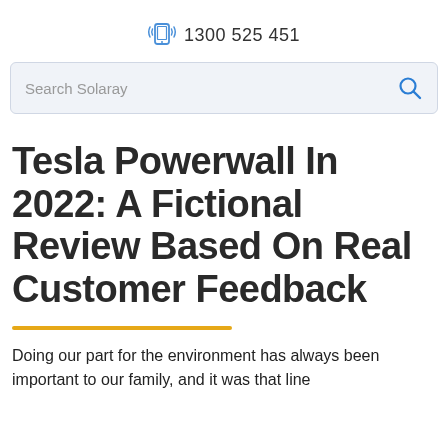1300 525 451
[Figure (other): Search bar with placeholder text 'Search Solaray' and a blue search icon on the right]
Tesla Powerwall In 2022: A Fictional Review Based On Real Customer Feedback
Doing our part for the environment has always been important to our family, and it was that line